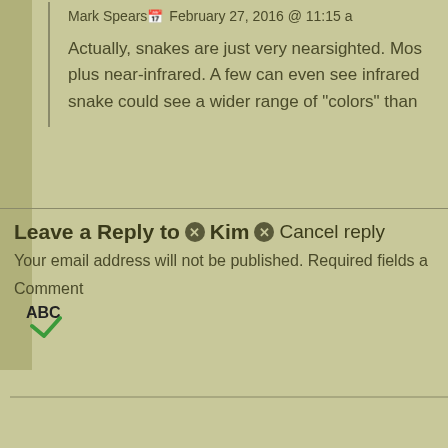Mark Spears  February 27, 2016 @ 11:15 a
Actually, snakes are just very nearsighted. Mos plus near-infrared. A few can even see infrared snake could see a wider range of "colors" than
Leave a Reply to ⊗ Kim ⊗ Cancel reply
Your email address will not be published. Required fields a
Comment
[Figure (other): ABC spellcheck icon with green checkmark]
Comment text input box (empty)